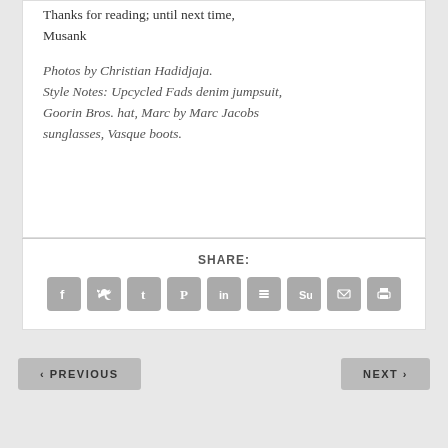Thanks for reading; until next time,
Musank
Photos by Christian Hadidjaja.
Style Notes: Upcycled Fads denim jumpsuit, Goorin Bros. hat, Marc by Marc Jacobs sunglasses, Vasque boots.
SHARE:
[Figure (infographic): Row of 9 social share icon buttons (Facebook, Twitter, Tumblr, Pinterest, LinkedIn, Buffer, StumbleUpon, Email, Print) rendered as grey rounded squares with white symbols]
‹ PREVIOUS
NEXT ›